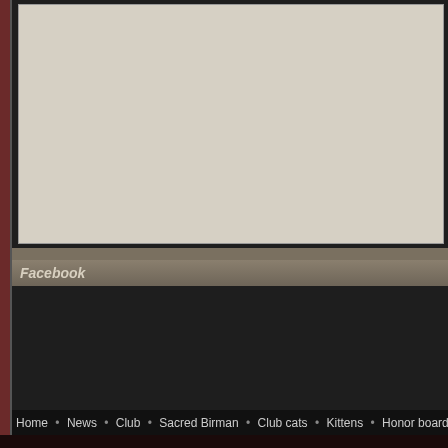[Figure (screenshot): Top content area with light beige/cream background, part of a website layout]
Facebook
Home • News • Club • Sacred Birman • Club cats • Kittens • Honor board • Gallery